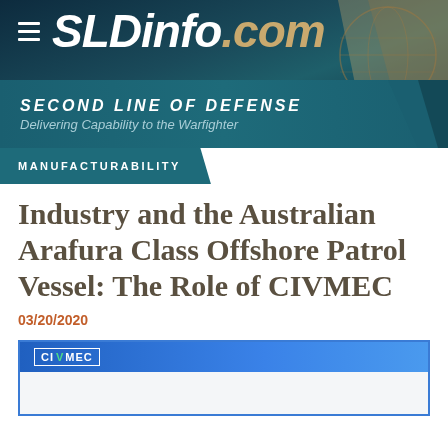SLDinfo.com
SECOND LINE OF DEFENSE
Delivering Capability to the Warfighter
MANUFACTURABILITY
Industry and the Australian Arafura Class Offshore Patrol Vessel: The Role of CIVMEC
03/20/2020
[Figure (logo): CIVMEC logo on blue header bar with white border box]